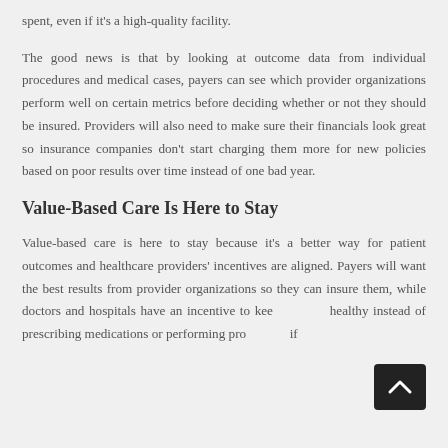spent, even if it's a high-quality facility.
The good news is that by looking at outcome data from individual procedures and medical cases, payers can see which provider organizations perform well on certain metrics before deciding whether or not they should be insured. Providers will also need to make sure their financials look great so insurance companies don't start charging them more for new policies based on poor results over time instead of one bad year.
Value-Based Care Is Here to Stay
Value-based care is here to stay because it's a better way for patient outcomes and healthcare providers' incentives are aligned. Payers will want the best results from provider organizations so they can insure them, while doctors and hospitals have an incentive to keep patients healthy instead of prescribing medications or performing procedures if